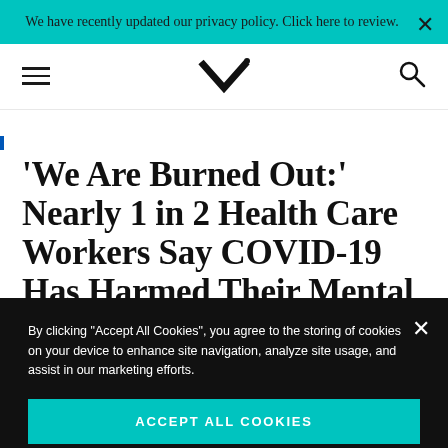We have recently updated our privacy policy. Click here to review.
[Figure (logo): MedPage Today logo — stylized MK monogram in black]
'We Are Burned Out:' Nearly 1 in 2 Health Care Workers Say COVID-19 Has Harmed Their Mental Health
By clicking “Accept All Cookies”, you agree to the storing of cookies on your device to enhance site navigation, analyze site usage, and assist in our marketing efforts.
Accept All Cookies
Cookie Settings